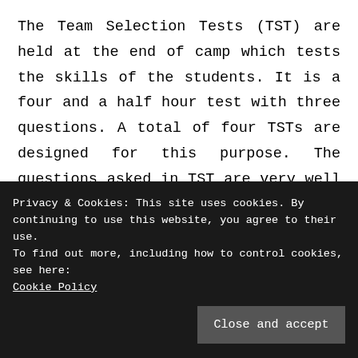The Team Selection Tests (TST) are held at the end of camp which tests the skills of the students. It is a four and a half hour test with three questions. A total of four TSTs are designed for this purpose. The questions asked in TST are very well designed and the level of difficulty is at par with the IMO. At the end of all four TSTs, we had a free day when we were taken for an excursion. The teachers stayed back
Privacy & Cookies: This site uses cookies. By continuing to use this website, you agree to their use.
To find out more, including how to control cookies, see here:
Cookie Policy
the TSTs. The student may clarify a